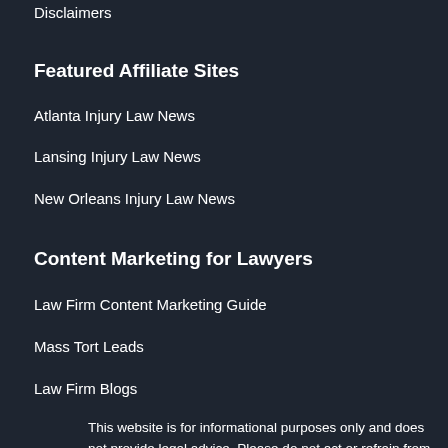Disclaimers
Featured Affiliate Sites
Atlanta Injury Law News
Lansing Injury Law News
New Orleans Injury Law News
Content Marketing for Lawyers
Law Firm Content Marketing Guide
Mass Tort Leads
Law Firm Blogs
This website is for informational purposes only and does not provide legal advice. Please do not act or refrain from acting based on anything you read on this site. The Legal Examiner